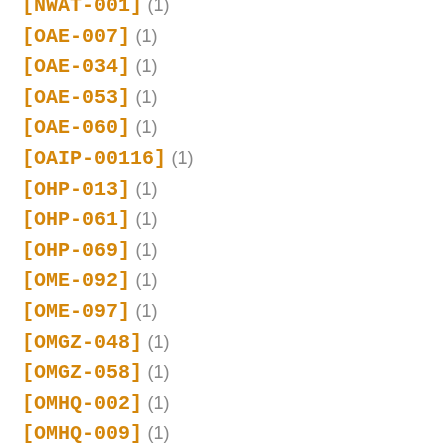[NWAT-001] (1)
[OAE-007] (1)
[OAE-034] (1)
[OAE-053] (1)
[OAE-060] (1)
[OAIP-00116] (1)
[OHP-013] (1)
[OHP-061] (1)
[OHP-069] (1)
[OME-092] (1)
[OME-097] (1)
[OMGZ-048] (1)
[OMGZ-058] (1)
[OMHQ-002] (1)
[OMHQ-009] (1)
[OMYR-004] (1)